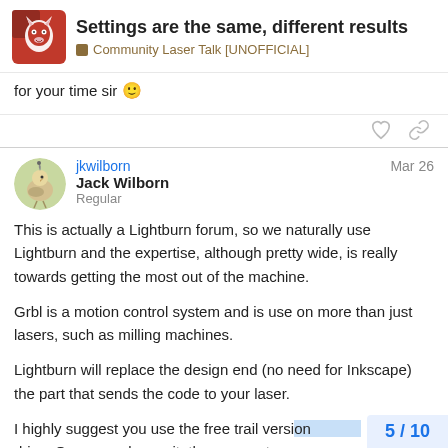Settings are the same, different results | Community Laser Talk [UNOFFICIAL]
for your time sir 🙂
jkwilborn  Jack Wilborn  Regular  Mar 26
This is actually a Lightburn forum, so we naturally use Lightburn and the expertise, although pretty wide, is really towards getting the most out of the machine.
Grbl is a motion control system and is use on more than just lasers, such as milling machines.
Lightburn will replace the design end (no need for Inkscape) the part that sends the code to your laser.
I highly suggest you use the free trail versi... drive. Once people use it, they convert.
5 / 10